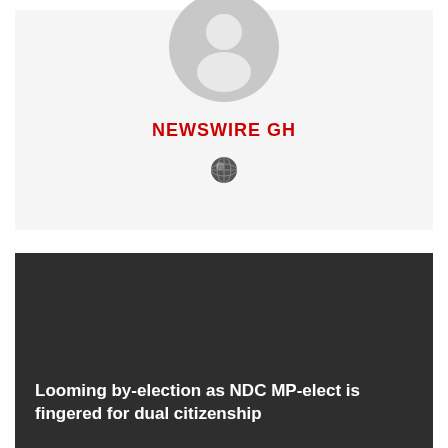[Figure (illustration): Default user avatar silhouette in a grey circle, above a light grey card background]
NEWSWIRE GH
[Figure (illustration): Small globe/world icon]
[Figure (photo): Dark grey background card with article headline]
Looming by-election as NDC MP-elect is fingered for dual citizenship